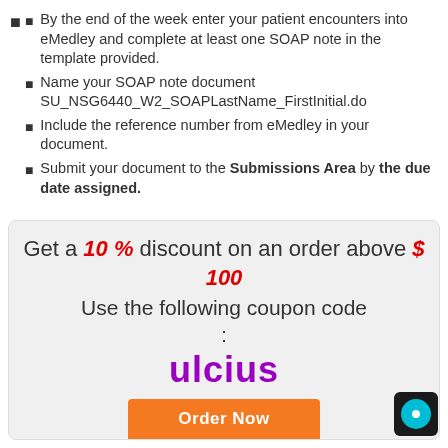By the end of the week enter your patient encounters into eMedley and complete at least one SOAP note in the template provided.
Name your SOAP note document SU_NSG6440_W2_SOAPLastName_FirstInitial.do
Include the reference number from eMedley in your document.
Submit your document to the Submissions Area by the due date assigned.
Get a 10 % discount on an order above $ 100
Use the following coupon code :
ulcius